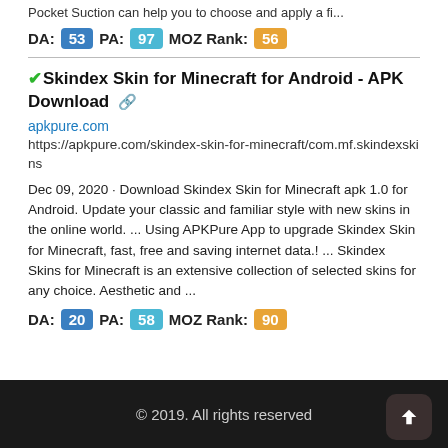Pocket Suction can help you to choose and apply a fi...
DA: 53  PA: 97  MOZ Rank: 56
✓Skindex Skin for Minecraft for Android - APK Download 🔗
apkpure.com
https://apkpure.com/skindex-skin-for-minecraft/com.mf.skindexskins
Dec 09, 2020 · Download Skindex Skin for Minecraft apk 1.0 for Android. Update your classic and familiar style with new skins in the online world. ... Using APKPure App to upgrade Skindex Skin for Minecraft, fast, free and saving internet data.! ... Skindex Skins for Minecraft is an extensive collection of selected skins for any choice. Aesthetic and ...
DA: 20  PA: 58  MOZ Rank: 90
© 2019. All rights reserved